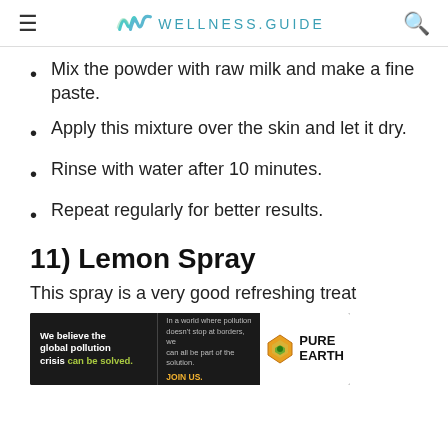≡  WELLNESS.GUIDE  🔍
Mix the powder with raw milk and make a fine paste.
Apply this mixture over the skin and let it dry.
Rinse with water after 10 minutes.
Repeat regularly for better results.
11) Lemon Spray
This spray is a very good refreshing treat
[Figure (other): Advertisement banner for Pure Earth: 'We believe the global pollution crisis can be solved. In a world where pollution doesn't stop at borders, we can all be part of the solution. JOIN US.' with Pure Earth logo.]